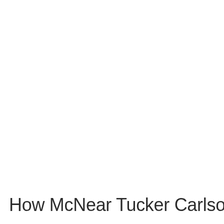How McNear Tucker Carlson in the